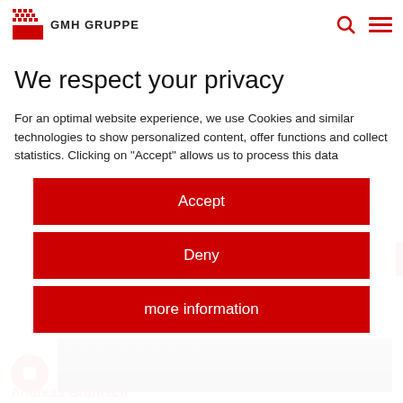GMH GRUPPE
We respect your privacy
For an optimal website experience, we use Cookies and similar technologies to show personalized content, offer functions and collect statistics. Clicking on "Accept" allows us to process this data
Accept
Deny
more information
Andreas Bruntsch